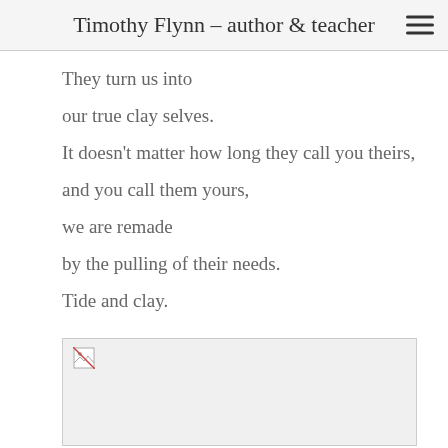Timothy Flynn – author & teacher
They turn us into
our true clay selves.
It doesn't matter how long they call you theirs,
and you call them yours,
we are remade
by the pulling of their needs.
Tide and clay.
[Figure (photo): Broken/missing image placeholder with small image icon in top-left corner, light gray background]